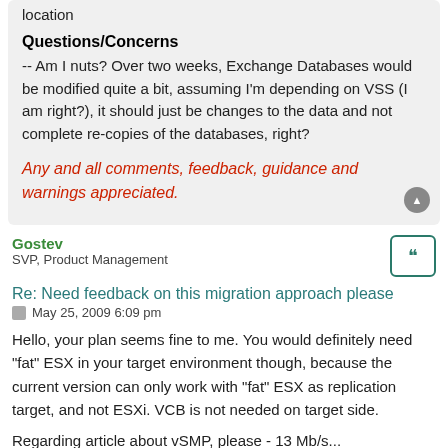location
Questions/Concerns
-- Am I nuts? Over two weeks, Exchange Databases would be modified quite a bit, assuming I'm depending on VSS (I am right?), it should just be changes to the data and not complete re-copies of the databases, right?
Any and all comments, feedback, guidance and warnings appreciated.
Gostev
SVP, Product Management
Re: Need feedback on this migration approach please
May 25, 2009 6:09 pm
Hello, your plan seems fine to me. You would definitely need "fat" ESX in your target environment though, because the current version can only work with "fat" ESX as replication target, and not ESXi. VCB is not needed on target side.
Regarding article about vSMP, please - 13 Mb/s...